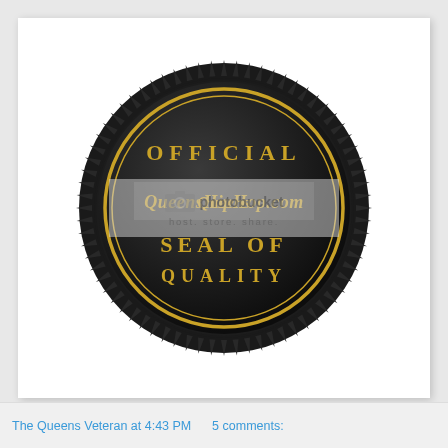[Figure (logo): Official seal with gear/starburst border in dark/black, gold circle ring, gold text reading OFFICIAL at top, QueensHipHop.com script in center, SEAL OF in middle, QUALITY at bottom. Photobucket watermark overlay across center.]
The Queens Veteran at 4:43 PM    5 comments: